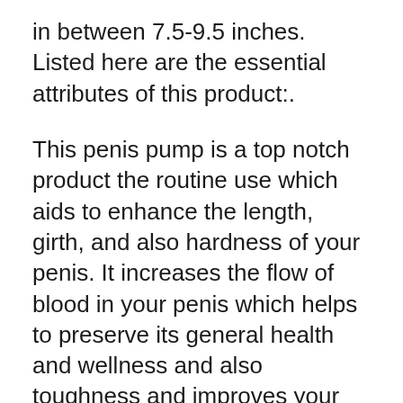in between 7.5-9.5 inches. Listed here are the essential attributes of this product:.
This penis pump is a top notch product the routine use which aids to enhance the length, girth, and also hardness of your penis. It increases the flow of blood in your penis which helps to preserve its general health and wellness and also toughness and improves your erection size and firmness.
The item is a worth devices pack which features different accessories working together to increase the overall penile health and wellness. There is a rather new and also advanced handball pump that assists to manage the stress on your penis. You can merely squeeze the handball pump to